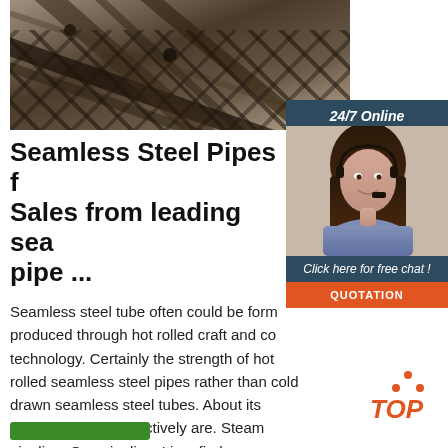[Figure (photo): Photo of steel pipes/plates stacked or arranged, metallic dark tones with diagonal lines suggesting industrial steel material]
[Figure (photo): Sidebar with 24/7 Online heading, photo of a woman with headset (customer service), Click here for free chat text, QUOTATION orange button, and TOP badge with orange dots and stylized text]
Seamless Steel Pipes f Sales from leading sea pipe ...
Seamless steel tube often could be form produced through hot rolled craft and co technology. Certainly the strength of hot rolled seamless steel pipes rather than cold drawn seamless steel tubes. About its common uses respectively are. Steam pipeline, Gas pipeline, Liquefied gas pipeline, Natural gas pipelines,